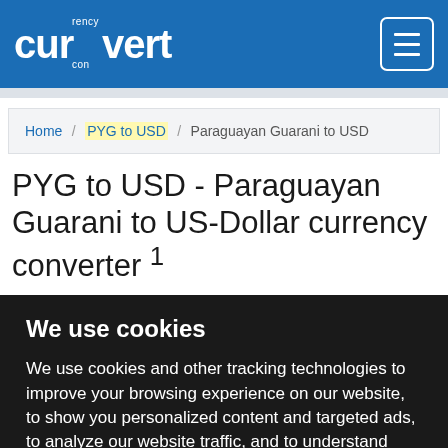curvertency convert
Home / PYG to USD / Paraguayan Guarani to USD
PYG to USD - Paraguayan Guarani to US-Dollar currency converter 1
We use cookies
We use cookies and other tracking technologies to improve your browsing experience on our website, to show you personalized content and targeted ads, to analyze our website traffic, and to understand where our visitors are coming from